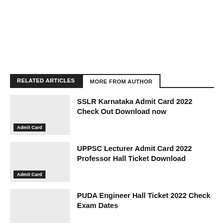RELATED ARTICLES
MORE FROM AUTHOR
SSLR Karnataka Admit Card 2022 Check Out Download now
UPPSC Lecturer Admit Card 2022 Professor Hall Ticket Download
PUDA Engineer Hall Ticket 2022 Check Exam Dates